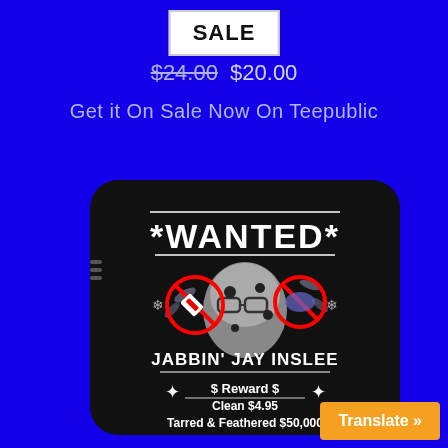SALE
$24.00 $20.00
Get it On Sale Now On Teepublic
[Figure (photo): Product photo of a black laptop sleeve with a 'WANTED' poster design featuring 'JABBIN' JAY INSLEE', prohibition signs, snowflake badges, and text '$ Reward $ Clean $4.95 Tarred & Feathered $50,000']
Translate »